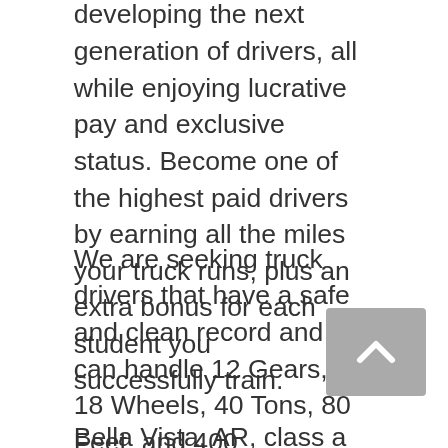developing the next generation of drivers, all while enjoying lucrative pay and exclusive status. Become one of the highest paid drivers by earning all the miles your truck runs, plus an extra bonus for each student you successfully train.
We are seeking truck drivers that have a safe and clean record and can handle 12 Gears, 18 Wheels, 40 Tons, 80 Feet, and 400 Horsepower! If that sounds anything like you, go ahead and apply now!
Bella Vista, AR, class a Regional, truck driver, cdl-a, driver, DOT, hazmat, LTL, Trucking, line haul, local, tanker,